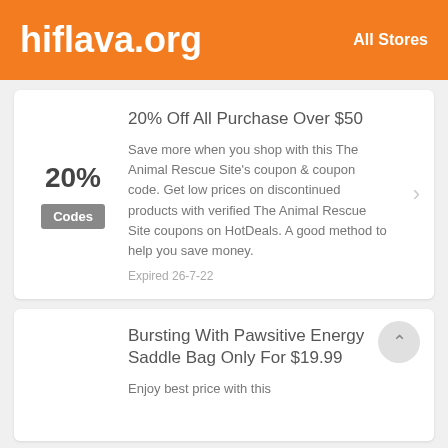hiflava.org   All Stores
20% Off All Purchase Over $50
Save more when you shop with this The Animal Rescue Site's coupon & coupon code. Get low prices on discontinued products with verified The Animal Rescue Site coupons on HotDeals. A good method to help you save money.
Expired 26-7-22
Bursting With Pawsitive Energy Saddle Bag Only For $19.99
Enjoy best price with this